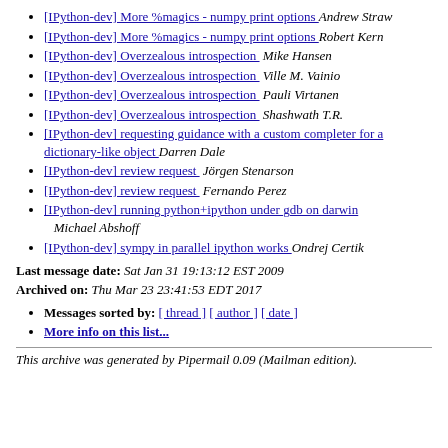[IPython-dev] More %magics - numpy print options  Andrew Straw
[IPython-dev] More %magics - numpy print options  Robert Kern
[IPython-dev] Overzealous introspection  Mike Hansen
[IPython-dev] Overzealous introspection  Ville M. Vainio
[IPython-dev] Overzealous introspection  Pauli Virtanen
[IPython-dev] Overzealous introspection  Shashwath T.R.
[IPython-dev] requesting guidance with a custom completer for a dictionary-like object  Darren Dale
[IPython-dev] review request  Jörgen Stenarson
[IPython-dev] review request  Fernando Perez
[IPython-dev] running python+ipython under gdb on darwin  Michael Abshoff
[IPython-dev] sympy in parallel ipython works  Ondrej Certik
Last message date: Sat Jan 31 19:13:12 EST 2009
Archived on: Thu Mar 23 23:41:53 EDT 2017
Messages sorted by: [ thread ] [ author ] [ date ]
More info on this list...
This archive was generated by Pipermail 0.09 (Mailman edition).